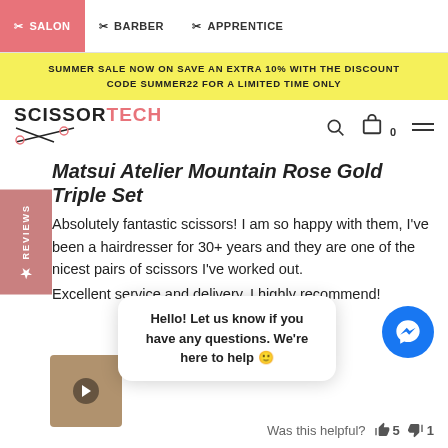SALON | BARBER | APPRENTICE
SUMMER SALE NOW ON SAVE AN EXTRA 10% WITH THE DISCOUNT CODE SUMMER22 FOR A LIMITED TIME ONLY
[Figure (logo): ScissorTech logo with scissors graphic]
Matsui Atelier Mountain Rose Gold Triple Set
Absolutely fantastic scissors! I am so happy with them, I've been a hairdresser for 30+ years and they are one of the nicest pairs of scissors I've worked out. Excellent service and delivery. I highly recommend!
[Figure (screenshot): Facebook Messenger chat popup: Hello! Let us know if you have any questions. We're here to help]
[Figure (photo): Video thumbnail showing scissors, with play button]
Was this helpful? 👍 5 👎 1